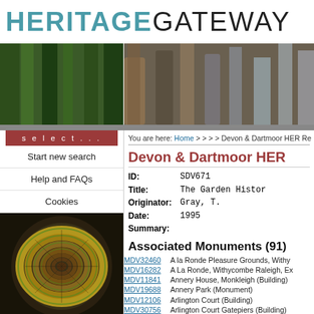HERITAGE GATEWAY
[Figure (photo): Split photo banner: left side shows green forest/trees, right side shows close-up of dark metallic gate or fence posts]
select...
Start new search
Help and FAQs
Cookies
[Figure (photo): Aerial view of a spiral staircase, yellow/gold tones with green railings]
You are here: Home > > > > Devon & Dartmoor HER Re
Devon & Dartmoor HER
| ID: | SDV671 |
| Title: | The Garden Histor |
| Originator: | Gray, T. |
| Date: | 1995 |
| Summary: |  |
Associated Monuments (91)
MDV32460 - A la Ronde Pleasure Grounds, Withy...
MDV16282 - A La Ronde, Withycombe Raleigh, Ex...
MDV11841 - Annery House, Monkleigh (Building)
MDV19688 - Annery Park (Monument)
MDV12106 - Arlington Court (Building)
MDV30756 - Arlington Court Gatepiers (Building)
MDV30757 - Arlington Court Granary (Building)
MDV32577 - Arlington Court Park (Park/Garden)
MDV30758 - Arlington Court Stables (Building)
MDV33341 - ...